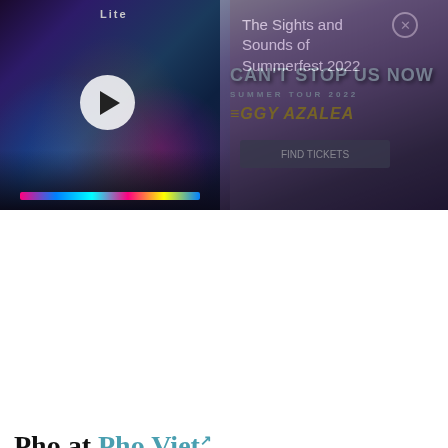[Figure (photo): Video thumbnail showing a concert/festival crowd scene with mixing board and a DJ/sound engineer silhouette, with purple and blue stage lighting. Miller Lite logo visible at top.]
The Sights and Sounds of Summerfest 2022
[Figure (photo): Advertisement overlay showing a concert event poster with two people (blonde woman and bald man), text reading 'CAN'T STOP US NOW SUMMER TOUR 2022 IGGY AZALEA' with amphitheater branding]
Pho at Pho Viet
"One of the places we go the most is to get pho. It's really almost replaced chicken noodle soup for me ... whether I'm sick or cold, or just needing something comforting. I love going to Pho Viet; I always get the rare steak, and then – not to shame their broth – but I like adding hoisin, Sriracha and chili oil to spice things up a bit. An added bonus is that I can go over to Pacific Produce right next